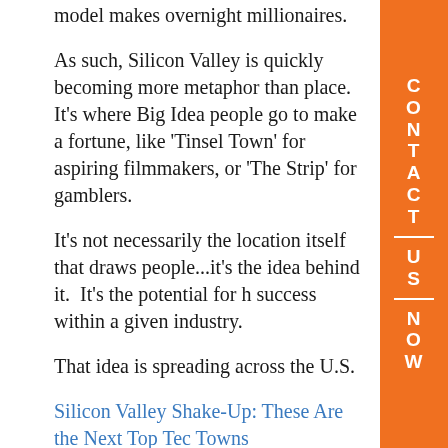model makes overnight millionaires.
As such, Silicon Valley is quickly becoming more metaphor than place.  It's where Big Idea people go to make a fortune, like 'Tinsel Town' for aspiring filmmakers, or 'The Strip' for gamblers.
It's not necessarily the location itself that draws people...it's the idea behind it.  It's the potential for h success within a given industry.
That idea is spreading across the U.S.
Silicon Valley Shake-Up: These Are the Next Top Tec Towns
In Charlotte, NC, the number of tech jobs grew 18% from 2014-2016.  Nashville has added over 6,000 tech jobs.  Detroit, best known for building cars, has grown its STEM jobs by 26%.